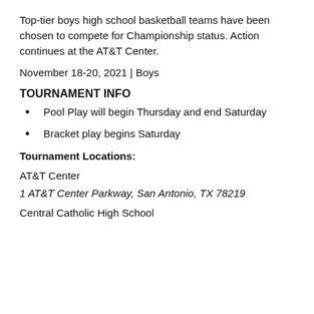Top-tier boys high school basketball teams have been chosen to compete for Championship status. Action continues at the AT&T Center.
November 18-20, 2021 | Boys
TOURNAMENT INFO
Pool Play will begin Thursday and end Saturday
Bracket play begins Saturday
Tournament Locations:
AT&T Center
1 AT&T Center Parkway, San Antonio, TX 78219
Central Catholic High School